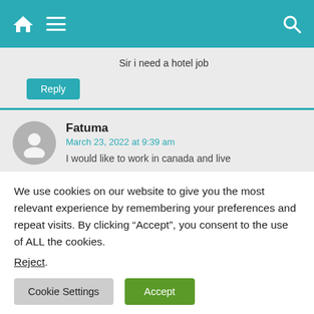Navigation bar with home, menu, and search icons
Sir i need a hotel job
Reply
Fatuma
March 23, 2022 at 9:39 am
I would like to work in canada and live
We use cookies on our website to give you the most relevant experience by remembering your preferences and repeat visits. By clicking “Accept”, you consent to the use of ALL the cookies.
Reject.
Cookie Settings
Accept